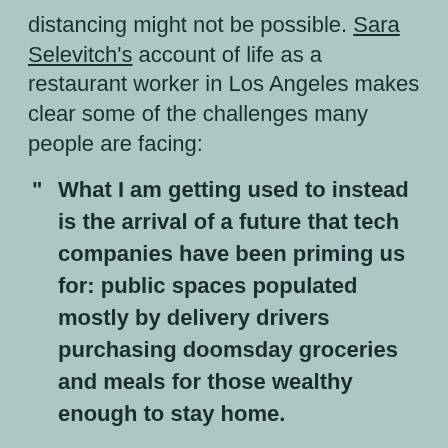distancing might not be possible. Sara Selevitch's account of life as a restaurant worker in Los Angeles makes clear some of the challenges many people are facing:
" What I am getting used to instead is the arrival of a future that tech companies have been priming us for: public spaces populated mostly by delivery drivers purchasing doomsday groceries and meals for those wealthy enough to stay home.
" The reality ignored by every